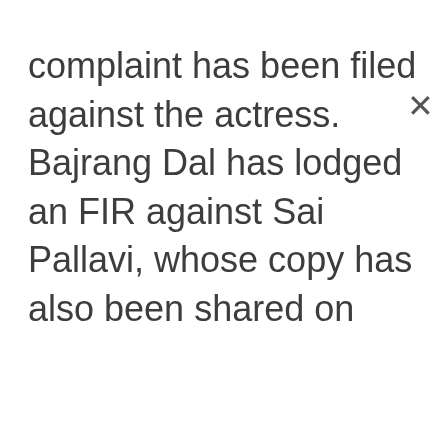complaint has been filed against the actress. Bajrang Dal has lodged an FIR against Sai Pallavi, whose copy has also been shared on